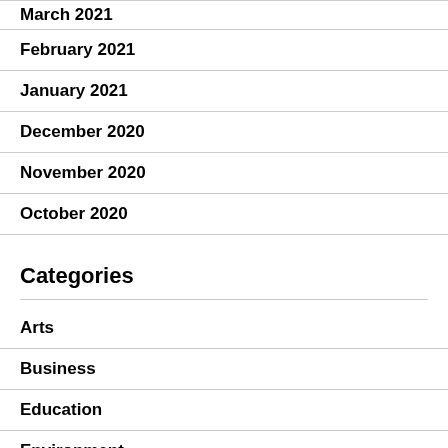March 2021
February 2021
January 2021
December 2020
November 2020
October 2020
Categories
Arts
Business
Education
Environment